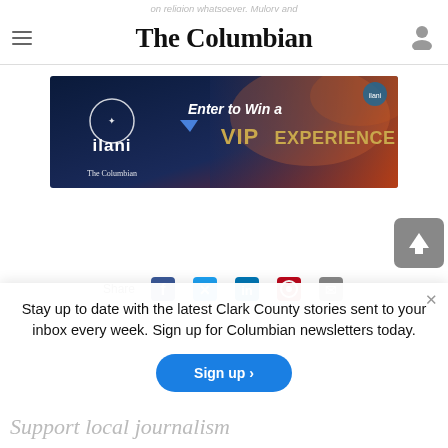The Columbian
on religion whatsoever. Mulory and
[Figure (illustration): ilani casino advertisement banner: 'Enter to Win a VIP EXPERIENCE' with The Columbian branding, dark background with event imagery]
[Figure (other): Gray scroll-to-top button with upward arrow]
Share
Stay up to date with the latest Clark County stories sent to your inbox every week. Sign up for Columbian newsletters today.
Sign up >
Support local journalism